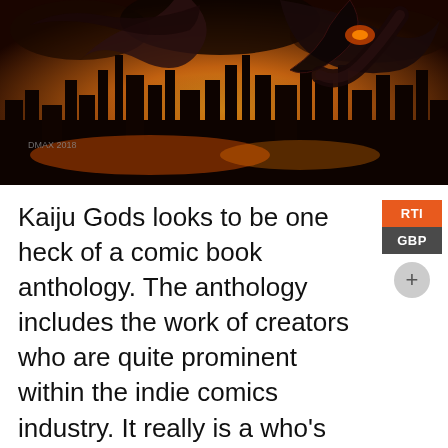[Figure (illustration): Kaiju Gods comic book illustration showing a giant monster with tentacles/wings attacking a city skyline with buildings silhouetted against an orange and yellow fiery sky. Artist signature visible: 'DMAX 2018']
Kaiju Gods looks to be one heck of a comic book anthology. The anthology includes the work of creators who are quite prominent within the indie comics industry. It really is a who's who of indie creators in Kaiju Gods – sadly, I think my invite to write a story was lost in transit – and the work that has gone into the anthology is astounding. Anyway, I was strong-armed by A. Shaw John into